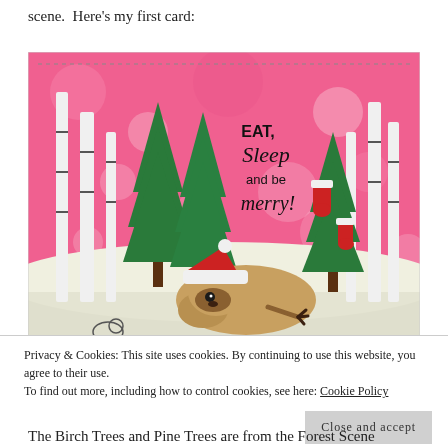scene.  Here's my first card:
[Figure (photo): A handmade Christmas card featuring a sleeping sloth wearing a red Santa hat, surrounded by white birch trees and green pine trees with red stockings, set against a pink bokeh background with the text 'EAT, Sleep and be merry!' The card is placed on a white glittery surface with pearl ornaments in the background.]
Privacy & Cookies: This site uses cookies. By continuing to use this website, you agree to their use.
To find out more, including how to control cookies, see here: Cookie Policy
Close and accept
The Birch Trees and Pine Trees are from the Forest Scene